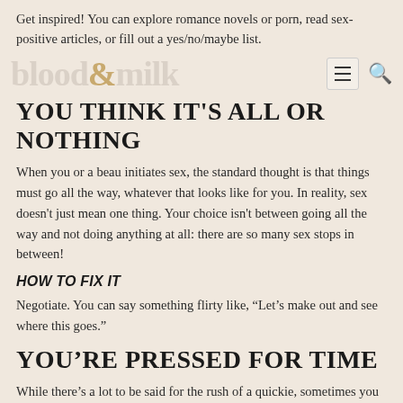Get inspired! You can explore romance novels or porn, read sex-positive articles, or fill out a yes/no/maybe list.
YOU THINK IT'S ALL OR NOTHING
When you or a beau initiates sex, the standard thought is that things must go all the way, whatever that looks like for you. In reality, sex doesn't just mean one thing. Your choice isn't between going all the way and not doing anything at all: there are so many sex stops in between!
HOW TO FIX IT
Negotiate. You can say something flirty like, “Let’s make out and see where this goes.”
YOU’RE PRESSED FOR TIME
While there’s a lot to be said for the rush of a quickie, sometimes you need a little bit longer to get into things.